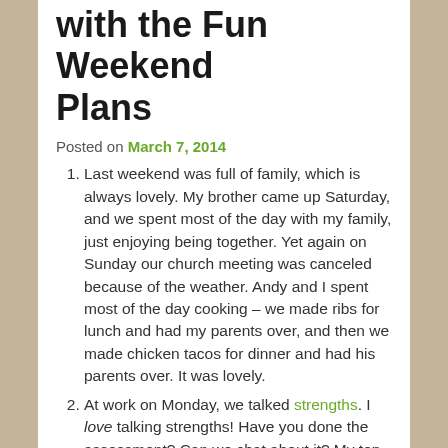with the Fun Weekend Plans
Posted on March 7, 2014
Last weekend was full of family, which is always lovely. My brother came up Saturday, and we spent most of the day with my family, just enjoying being together. Yet again on Sunday our church meeting was canceled because of the weather. Andy and I spent most of the day cooking – we made ribs for lunch and had my parents over, and then we made chicken tacos for dinner and had his parents over. It was lovely.
At work on Monday, we talked strengths. I love talking strengths! Have you done the assessment? Can we chat about it? My top five are activator, strategic, input, individualization, and context.
We have a lot of fun planned for this weekend – a birthday party, a game night with our church family, and Disney Princesses on Ice for Aria and me with